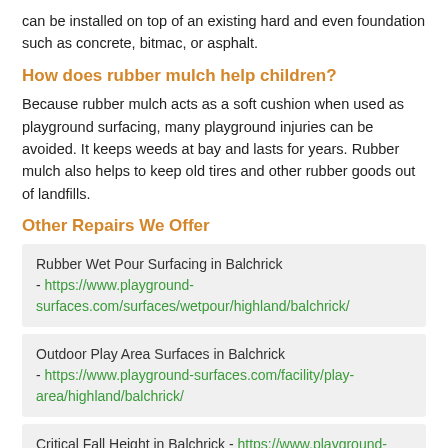can be installed on top of an existing hard and even foundation such as concrete, bitmac, or asphalt.
How does rubber mulch help children?
Because rubber mulch acts as a soft cushion when used as playground surfacing, many playground injuries can be avoided. It keeps weeds at bay and lasts for years. Rubber mulch also helps to keep old tires and other rubber goods out of landfills.
Other Repairs We Offer
Rubber Wet Pour Surfacing in Balchrick - https://www.playground-surfaces.com/surfaces/wetpour/highland/balchrick/
Outdoor Play Area Surfaces in Balchrick - https://www.playground-surfaces.com/facility/play-area/highland/balchrick/
Critical Fall Height in Balchrick - https://www.playground-surfaces.com/highland/balchrick/